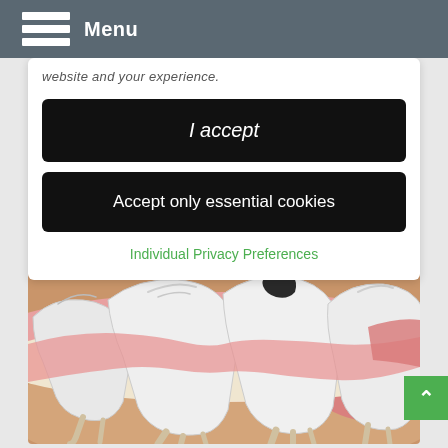Menu
website and your experience.
I accept
Accept only essential cookies
Individual Privacy Preferences
[Figure (illustration): 3D dental illustration showing a row of white molars with one tooth having a dark cavity/filling on top, set against pink gum tissue and tan bone background]